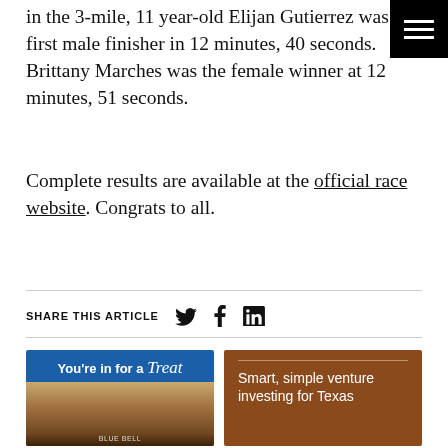in the 3-mile, 11 year-old Elijan Gutierrez was the first male finisher in 12 minutes, 40 seconds. Brittany Marches was the female winner at 12 minutes, 51 seconds.
Complete results are available at the official race website. Congrats to all.
[Figure (other): Share this article bar with Twitter, Facebook, and LinkedIn icons, and two advertisement banners below: one Blue Bell ice cream ad and one 'Smart, simple venture investing for Texas' ad]